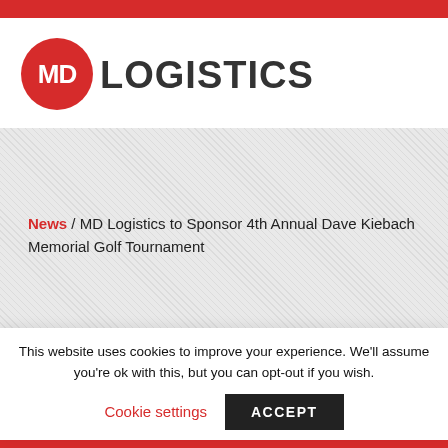[Figure (logo): MD Logistics logo: red circle with white 'MD' text, followed by 'LOGISTICS' in dark gray bold uppercase letters]
News / MD Logistics to Sponsor 4th Annual Dave Kiebach Memorial Golf Tournament
This website uses cookies to improve your experience. We'll assume you're ok with this, but you can opt-out if you wish.
Cookie settings  ACCEPT
Memorial Golf Tournament
[menu icon] [email icon] [phone icon] [linkedin icon]